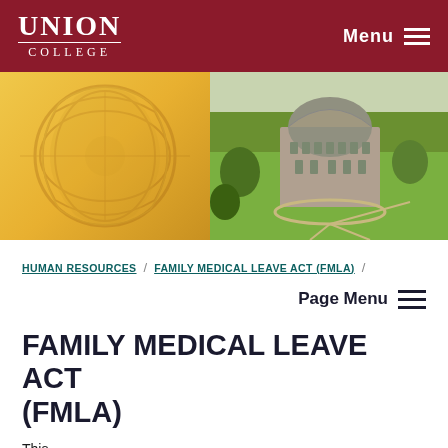UNION COLLEGE | Menu
[Figure (photo): Hero image split: left half gold/yellow decorative ornamental background, right half aerial photo of Union College campus featuring a domed Romanesque-style building (Nott Memorial) surrounded by green lawns and trees]
HUMAN RESOURCES / FAMILY MEDICAL LEAVE ACT (FMLA) /
Page Menu
FAMILY MEDICAL LEAVE ACT (FMLA)
This page is cut off at the bottom with partial text beginning.